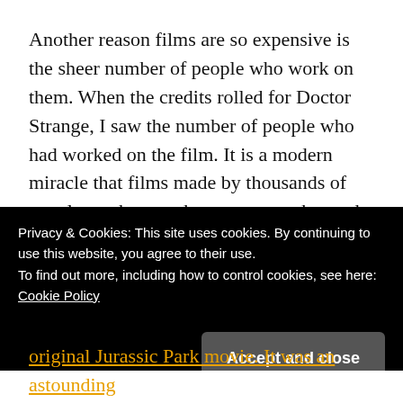Another reason films are so expensive is the sheer number of people who work on them. When the credits rolled for Doctor Strange, I saw the number of people who had worked on the film. It is a modern miracle that films made by thousands of people can be so coherent or even be made at all. It is a great feat of project management!
When CGI started, I remember seeing a TV programme in which someone said, “We’ll never be able to create CGI of people walking around; human movement was too complicated”! How that has
Privacy & Cookies: This site uses cookies. By continuing to use this website, you agree to their use.
To find out more, including how to control cookies, see here: Cookie Policy
Accept and close
original Jurassic Park movie. It was an astounding